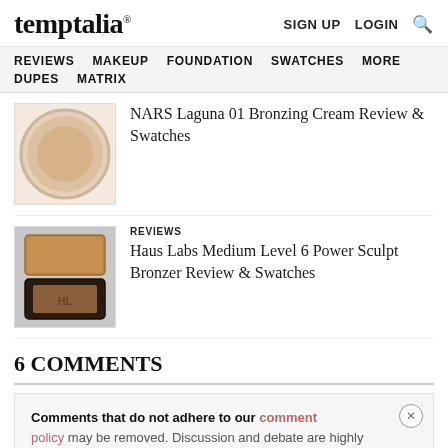temptalia® | SIGN UP  LOGIN  🔍
REVIEWS  MAKEUP  FOUNDATION  SWATCHES  MORE  DUPES  MATRIX
[Figure (photo): Round compact with NARS Laguna bronzing cream in a warm beige-peach tone]
NARS Laguna 01 Bronzing Cream Review & Swatches
[Figure (photo): Haus Labs bronzer compact with rose-gold lid, opened to reveal a matte warm brown pressed powder with HL embossed logo]
REVIEWS
Haus Labs Medium Level 6 Power Sculpt Bronzer Review & Swatches
6 COMMENTS
Comments that do not adhere to our comment policy may be removed. Discussion and debate are highly encouraged but we expect community members to participate